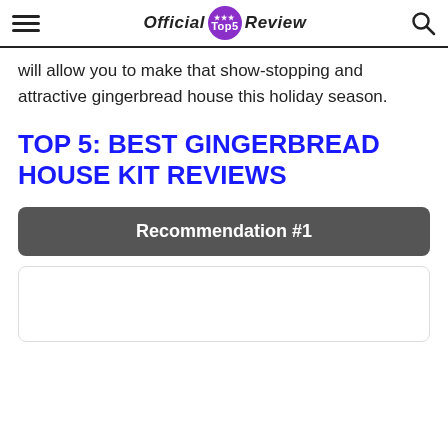Official Top5 Review
will allow you to make that show-stopping and attractive gingerbread house this holiday season.
TOP 5: BEST GINGERBREAD HOUSE KIT REVIEWS
Recommendation #1